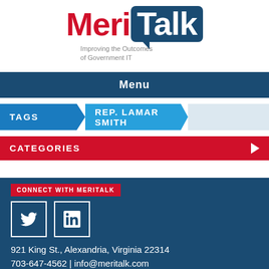[Figure (logo): MeriTalk logo with tagline 'Improving the Outcomes of Government IT']
Menu
TAGS  REP. LAMAR SMITH
CATEGORIES
CONNECT WITH MERITALK
921 King St., Alexandria, Virginia 22314
703-647-4562 | info@meritalk.com